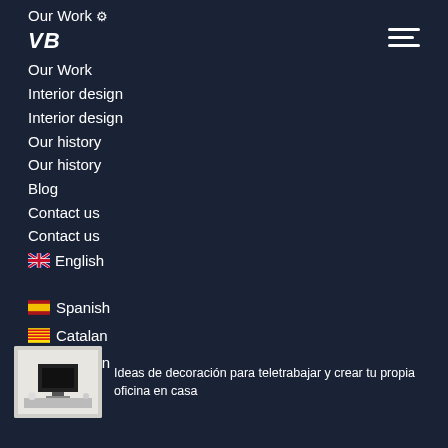Our Work ⚙
Our Work
Interior design
Interior design
Our history
Our history
Blog
Contact us
Contact us
🇬🇧 English
🇪🇸 Spanish
🏳 Catalan
🇷🇺 Russian
Ideas de decoración para teletrabajar y crear tu propia oficina en casa